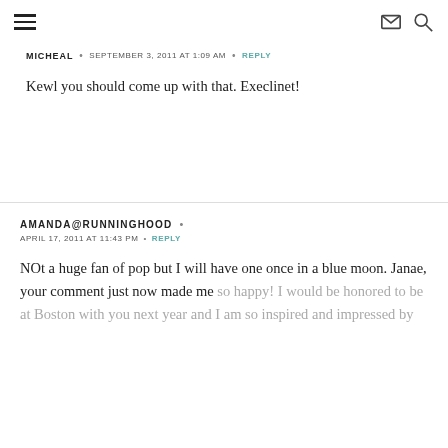[hamburger menu icon] [mail icon] [search icon]
MICHEAL • SEPTEMBER 3, 2011 AT 1:09 AM • REPLY
Kewl you should come up with that. Execlinet!
AMANDA@RUNNINGHOOD •
APRIL 17, 2011 AT 11:43 PM • REPLY
NOt a huge fan of pop but I will have one once in a blue moon. Janae, your comment just now made me so happy! I would be honored to be at Boston with you next year and I am so inspired and impressed by